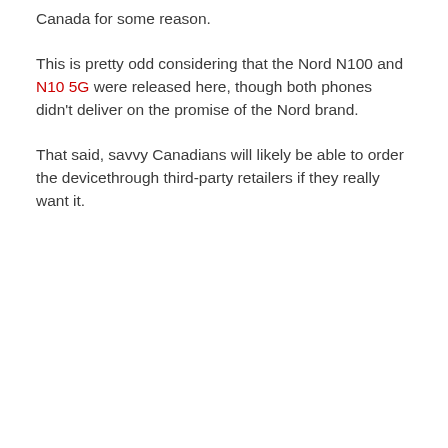Canada for some reason.
This is pretty odd considering that the Nord N100 and N10 5G were released here, though both phones didn't deliver on the promise of the Nord brand.
That said, savvy Canadians will likely be able to order the devicethrough third-party retailers if they really want it.